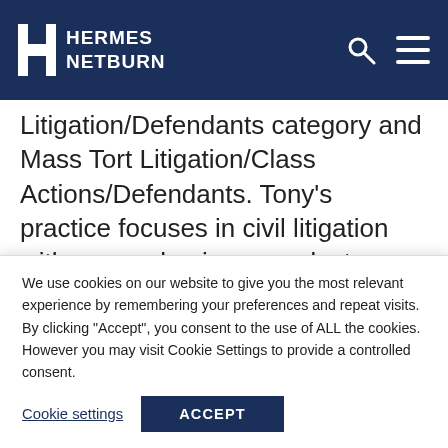HERMES NETBURN
Litigation/Defendants category and Mass Tort Litigation/Class Actions/Defendants. Tony's practice focuses in civil litigation with an emphasis on products liability and toxic torts.  He defends manufacturers of automobiles, light, medium and heavy trucks, construction equipment,
We use cookies on our website to give you the most relevant experience by remembering your preferences and repeat visits. By clicking "Accept", you consent to the use of ALL the cookies. However you may visit Cookie Settings to provide a controlled consent.
Cookie settings  ACCEPT